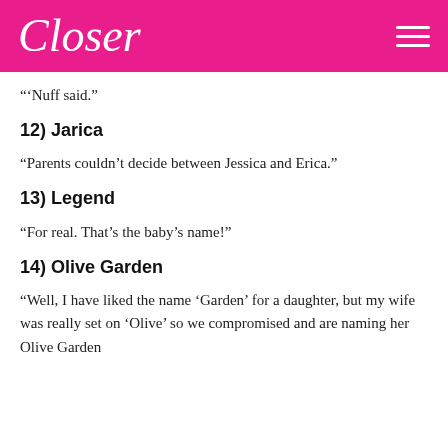Closer
“’Nuff said.”
12) Jarica
“Parents couldn’t decide between Jessica and Erica.”
13) Legend
“For real. That’s the baby’s name!”
14) Olive Garden
“Well, I have liked the name ‘Garden’ for a daughter, but my wife was really set on ‘Olive’ so we compromised and are naming her Olive Garden